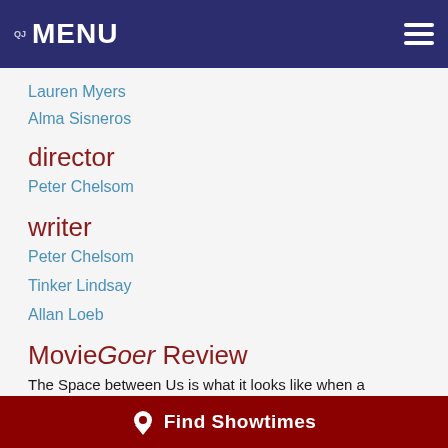QJ MENU
Lauren Myers
Alma Sisneros
director
Peter Chelsom
writer
Peter Chelsom
Tinker Lindsay
Allan Loeb
MovieGoer Review
The Space between Us is what it looks like when a promising premise is betrayed by a dumbed-down, hackneyed screenplay. Instead of developing this movie as a coming-of-age story of the first Earth-conceived child born on another planet, the... MORE